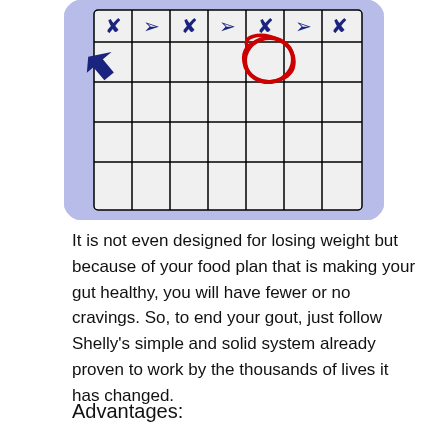[Figure (illustration): A calendar illustration with a light blue/lavender background and rounded corners. The calendar grid has dark bordered cells. The top row shows dark blue downward-pointing arrow/checkmark icons. The first cell of the second row has a larger dark blue arrow/checkmark icon. A red hand-drawn circle marks one cell in the upper-right area of the grid.]
It is not even designed for losing weight but because of your food plan that is making your gut healthy, you will have fewer or no cravings. So, to end your gout, just follow Shelly’s simple and solid system already proven to work by the thousands of lives it has changed.
Advantages: